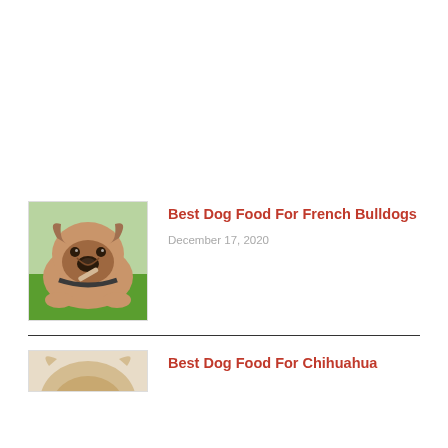[Figure (photo): French Bulldog lying on grass chewing a treat, close-up photo]
Best Dog Food For French Bulldogs
December 17, 2020
[Figure (photo): Chihuahua dog, partially visible at bottom of page]
Best Dog Food For Chihuahua